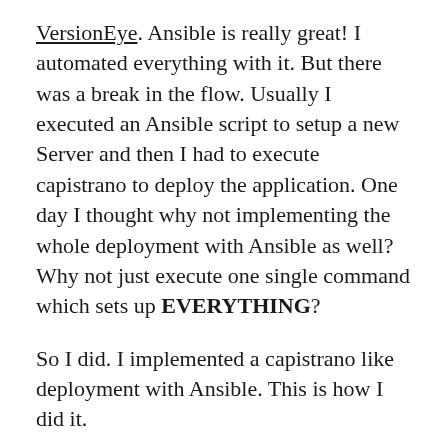VersionEye. Ansible is really great! I automated everything with it. But there was a break in the flow. Usually I executed an Ansible script to setup a new Server and then I had to execute capistrano to deploy the application. One day I thought why not implementing the whole deployment with Ansible as well? Why not just execute one single command which sets up EVERYTHING?
So I did. I implemented a capistrano like deployment with Ansible. This is how I did it.
First of all I ensure that the “log” and “pid” directories exist in the “shared” folder. The